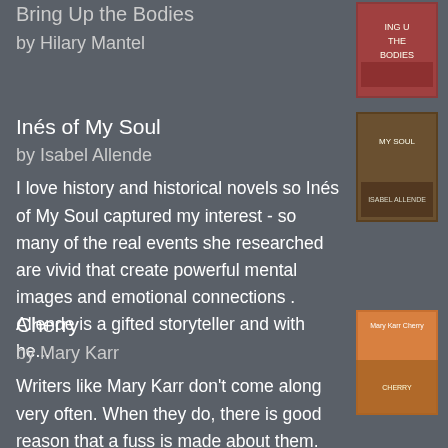Bring Up the Bodies
by Hilary Mantel
[Figure (photo): Book cover of Bring Up the Bodies by Hilary Mantel]
Inés of My Soul
by Isabel Allende
[Figure (photo): Book cover of Inés of My Soul by Isabel Allende]
I love history and historical novels so Inés of My Soul captured my interest - so many of the real events she researched are vivid that create powerful mental images and emotional connections . Allende is a gifted storyteller and with he...
Cherry
by Mary Karr
[Figure (photo): Book cover of Cherry by Mary Karr]
Writers like Mary Karr don't come along very often. When they do, there is good reason that a fuss is made about them. Although Cherry isn't my favorite of her memoir trilogy, it is still storytelling at